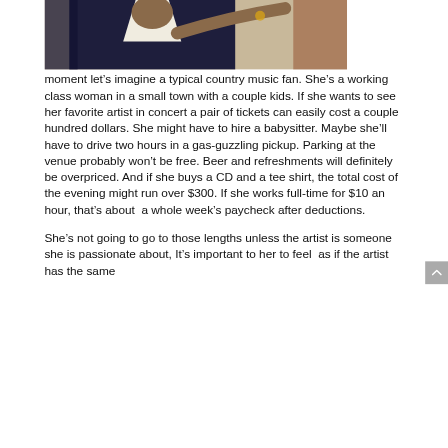[Figure (photo): A person in a dark jacket and white shirt pointing a finger, photographed from the chest up.]
moment let's imagine a typical country music fan. She's a working class woman in a small town with a couple kids. If she wants to see her favorite artist in concert a pair of tickets can easily cost a couple hundred dollars. She might have to hire a babysitter. Maybe she'll have to drive two hours in a gas-guzzling pickup. Parking at the venue probably won't be free. Beer and refreshments will definitely be overpriced. And if she buys a CD and a tee shirt, the total cost of the evening might run over $300. If she works full-time for $10 an hour, that's about a whole week's paycheck after deductions.
She's not going to go to those lengths unless the artist is someone she is passionate about. It's important to her to feel as if the artist has the same